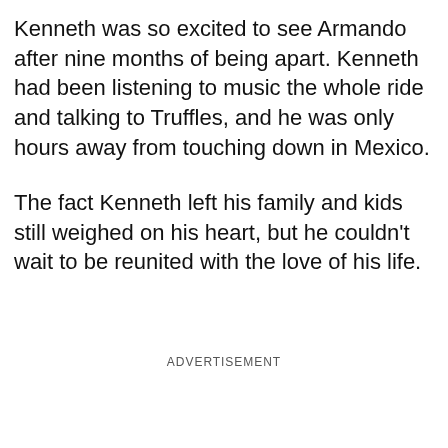Kenneth was so excited to see Armando after nine months of being apart. Kenneth had been listening to music the whole ride and talking to Truffles, and he was only hours away from touching down in Mexico.
The fact Kenneth left his family and kids still weighed on his heart, but he couldn't wait to be reunited with the love of his life.
ADVERTISEMENT